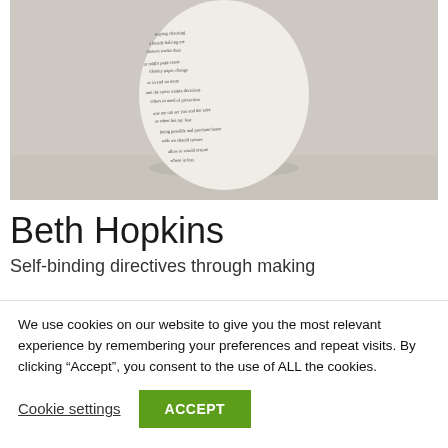[Figure (photo): A white egg-shaped or teardrop-shaped fabric/plaster object covered in handwritten script text, sitting on a white surface against a light grey background.]
Beth Hopkins
Self-binding directives through making
We use cookies on our website to give you the most relevant experience by remembering your preferences and repeat visits. By clicking “Accept”, you consent to the use of ALL the cookies.
Cookie settings
ACCEPT